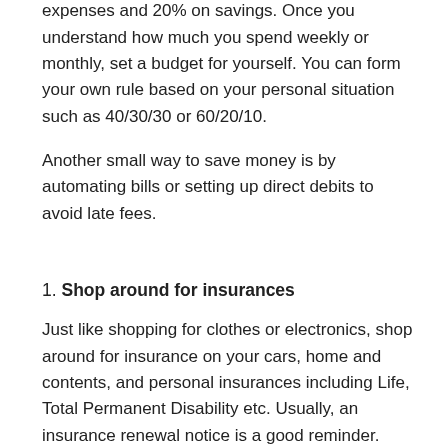towards basic living expenses, 30% on sundry expenses and 20% on savings. Once you understand how much you spend weekly or monthly, set a budget for yourself. You can form your own rule based on your personal situation such as 40/30/30 or 60/20/10.
Another small way to save money is by automating bills or setting up direct debits to avoid late fees.
1. Shop around for insurances
Just like shopping for clothes or electronics, shop around for insurance on your cars, home and contents, and personal insurances including Life, Total Permanent Disability etc. Usually, an insurance renewal notice is a good reminder. Companies often offer discounts to new customers, so switching insurers could save you a few hundred dollars.